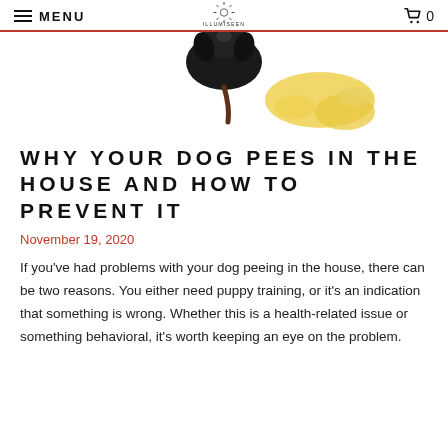MENU  ILLUMISEEN  0
[Figure (photo): Top-down view of a small black dog with a yellow urine puddle on white background]
WHY YOUR DOG PEES IN THE HOUSE AND HOW TO PREVENT IT
November 19, 2020
If you've had problems with your dog peeing in the house, there can be two reasons. You either need puppy training, or it's an indication that something is wrong. Whether this is a health-related issue or something behavioral, it's worth keeping an eye on the problem.